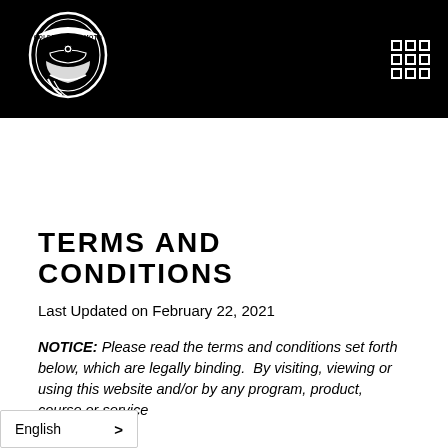[Figure (logo): Golden State Moto motorcycle helmet logo in white on black background, circular emblem]
[Figure (other): 3x3 grid icon (menu icon) in white on black background]
TERMS AND CONDITIONS
Last Updated on February 22, 2021
NOTICE: Please read the terms and conditions set forth below, which are legally binding. By visiting, viewing or using this website and/or by any program, product, course or service
English >